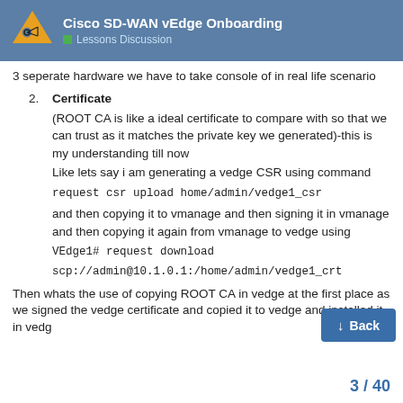Cisco SD-WAN vEdge Onboarding
Lessons Discussion
3 seperate hardware we have to take console of in real life scenario
2. Certificate
(ROOT CA is like a ideal certificate to compare with so that we can trust as it matches the private key we generated)-this is my understanding till now
Like lets say i am generating a vedge CSR using command
request csr upload home/admin/vedge1_csr
and then copying it to vmanage and then signing it in vmanage and then copying it again from vmanage to vedge using
VEdge1# request download
scp://admin@10.1.0.1:/home/admin/vedge1_crt
Then whats the use of copying ROOT CA in vedge at the first place as we signed the vedge certificate and copied it to vedge and installed it in vedg
3 / 40